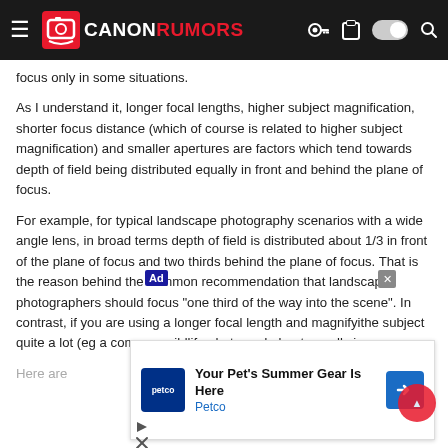Canon Rumors
focus only in some situations.
As I understand it, longer focal lengths, higher subject magnification, shorter focus distance (which of course is related to higher subject magnification) and smaller apertures are factors which tend towards depth of field being distributed equally in front and behind the plane of focus.
For example, for typical landscape photography scenarios with a wide angle lens, in broad terms depth of field is distributed about 1/3 in front of the plane of focus and two thirds behind the plane of focus. That is the reason behind the common recommendation that landscape photographers should focus "one third of the way into the scene". In contrast, if you are using a longer focal length and magnifying the subject quite a lot (eg a common wildlife photography scenario), the depth of field is distributed about equally in...
[Figure (advertisement): Petco ad: Your Pet's Summer Gear Is Here]
Here are